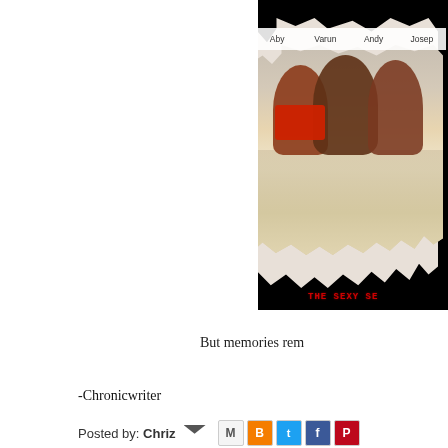[Figure (photo): A torn-paper style photo on black background showing young men at a beach/water area. Names shown: Aby, Varun, Andy, Josep. Red text at bottom reads 'THE SEXY SE...']
But memories rem
-Chronicwriter
Posted by: Chriz
Tags: College galatta, Friends